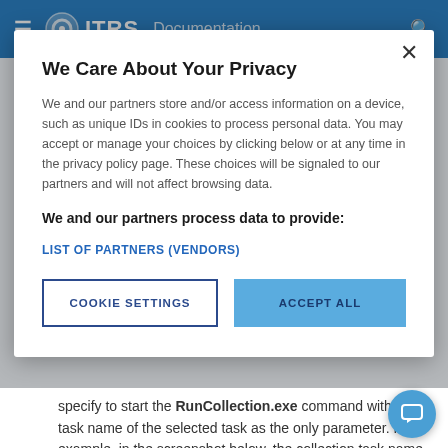ITRS Documentation
We Care About Your Privacy
We and our partners store and/or access information on a device, such as unique IDs in cookies to process personal data. You may accept or manage your choices by clicking below or at any time in the privacy policy page. These choices will be signaled to our partners and will not affect browsing data.
We and our partners process data to provide:
LIST OF PARTNERS (VENDORS)
COOKIE SETTINGS
ACCEPT ALL
specify to start the RunCollection.exe command with the task name of the selected task as the only parameter. For example, in the screenshot below, the collection task name is Geneos-Prj335-at_13_0 .